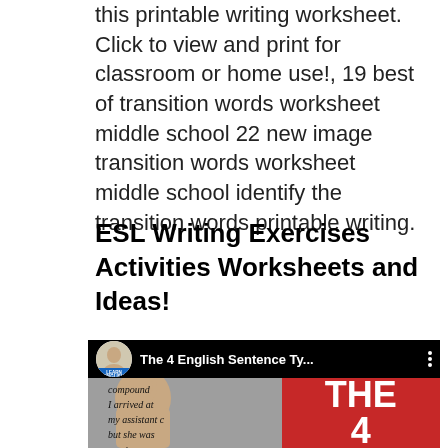this printable writing worksheet. Click to view and print for classroom or home use!, 19 best of transition words worksheet middle school 22 new image transition words worksheet middle school identify the transition words printable writing.
ESL Writing Exercises Activities Worksheets and Ideas!
[Figure (screenshot): YouTube video thumbnail showing 'The 4 English Sentence Ty...' with a person speaking on left side showing handwritten text 'compound, I arrived at my assistant c but she was' and a red panel on right showing 'THE 4']